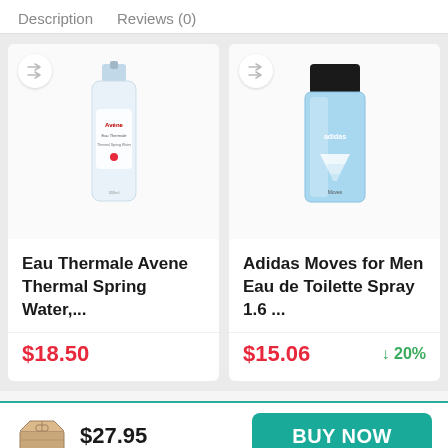Description   Reviews (0)
[Figure (photo): Avene Eau Thermale thermal spring water spray bottle product image]
Eau Thermale Avene Thermal Spring Water,...
$18.50
[Figure (photo): Adidas Moves for Men Eau de Toilette Spray bottle product image]
Adidas Moves for Men Eau de Toilette Spray 1.6 ...
$15.06
↓ 20%
[Figure (photo): Cardboard box / package icon]
$27.95
BUY NOW